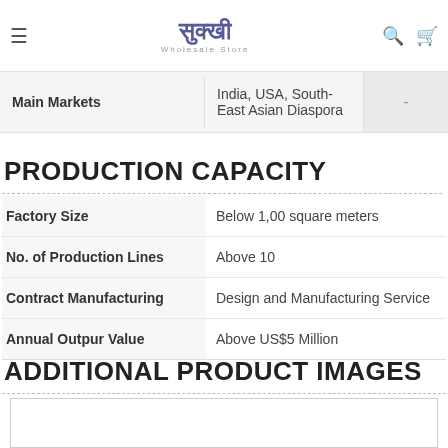Sukkhi Wholesale Store
| Main Markets |  |  |
| --- | --- | --- |
| Main Markets | India, USA, South-East Asian Diaspora | - |
PRODUCTION CAPACITY
|  |  |
| --- | --- |
| Factory Size | Below 1,00 square meters |
| No. of Production Lines | Above 10 |
| Contract Manufacturing | Design and Manufacturing Service |
| Annual Outpur Value | Above US$5 Million |
ADDITIONAL PRODUCT IMAGES
[Figure (other): Empty image placeholder box]